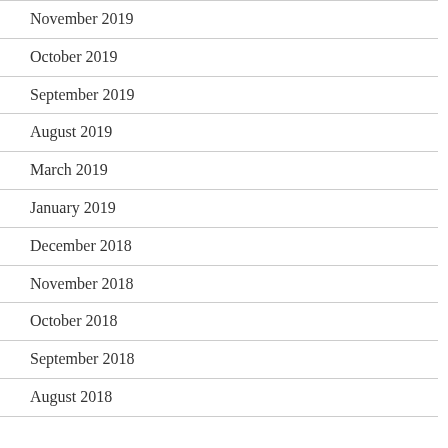November 2019
October 2019
September 2019
August 2019
March 2019
January 2019
December 2018
November 2018
October 2018
September 2018
August 2018